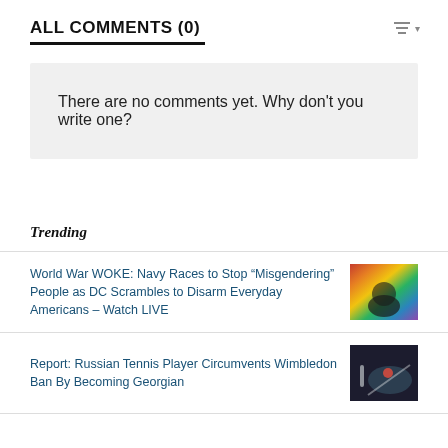ALL COMMENTS (0)
There are no comments yet. Why don't you write one?
Trending
World War WOKE: Navy Races to Stop “Misgendering” People as DC Scrambles to Disarm Everyday Americans – Watch LIVE
Report: Russian Tennis Player Circumvents Wimbledon Ban By Becoming Georgian